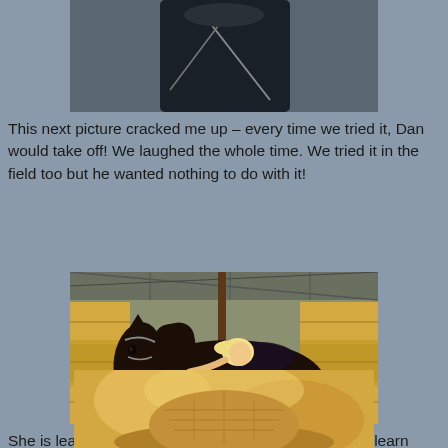[Figure (photo): Top portion of a photo showing a person in dark clothing, partially cropped at the top of the page]
This next picture cracked me up – every time we tried it, Dan would take off! We laughed the whole time. We tried it in the field too but he wanted nothing to do with it!
[Figure (photo): A blonde woman in a black dress lying across a dark horse inside a barn surrounded by hay bales. A watermark reading 'Jessy' is visible in the lower left.]
She is learning guitar as well. Jessy thinks she might learn guitar so she can have it in her senior photos!
[Figure (photo): Partially visible photo at bottom showing a woven/straw cowboy hat against a warm golden background]